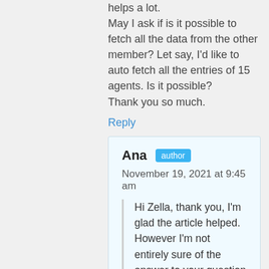helps a lot.
May I ask if is it possible to fetch all the data from the other member? Let say, I'd like to auto fetch all the entries of 15 agents. Is it possible?
Thank you so much.
Reply
Ana  author
November 19, 2021 at 9:45 am
Hi Zella, thank you, I'm glad the article helped. However I'm not entirely sure of the answer to your question since I'm not really sure what “member” or “agent” corresponds to. If you check their API documentation you can see many different parameters like “client_ids”, “user_ids”, and so on, so you can add any of those if that's what you're looking for.